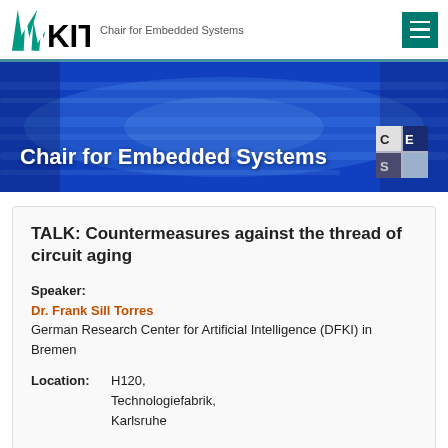KIT – Chair for Embedded Systems
[Figure (illustration): Blue banner with 'Chair for Embedded Systems' text and CES logo]
TALK: Countermeasures against the thread of circuit aging
Speaker: Dr. Frank Sill Torres
German Research Center for Artificial Intelligence (DFKI) in Bremen
Location: H120, Technologiefabrik, Karlsruhe